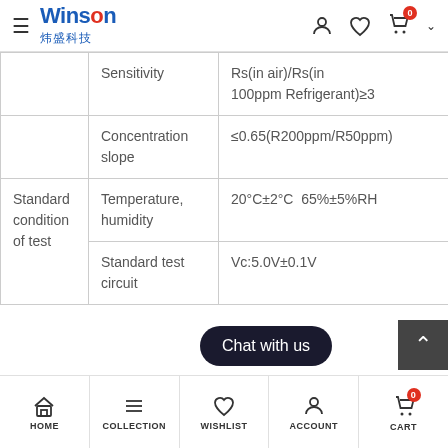Winsen 炜盛科技 — navigation header with hamburger menu, logo, user icon, wishlist icon, cart (0)
|  | Parameter | Value |
| --- | --- | --- |
|  | Sensitivity | Rs(in air)/Rs(in 100ppm Refrigerant)≥3 |
|  | Concentration slope | ≤0.65(R200ppm/R50ppm) |
| Standard condition of test | Temperature, humidity | 20°C±2°C  65%±5%RH |
|  | Standard test circuit | Vc:5.0V±0.1V |
HOME  COLLECTION  WISHLIST  ACCOUNT  CART